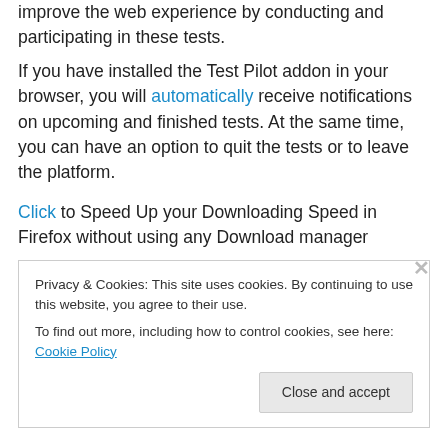improve the web experience by conducting and participating in these tests. If you have installed the Test Pilot addon in your browser, you will automatically receive notifications on upcoming and finished tests. At the same time, you can have an option to quit the tests or to leave the platform.
Click to Speed Up your Downloading Speed in Firefox without using any Download manager
[Figure (other): Broken image placeholder with alt text 'MozillaTestPilot' shown as a link in blue]
Privacy & Cookies: This site uses cookies. By continuing to use this website, you agree to their use. To find out more, including how to control cookies, see here: Cookie Policy